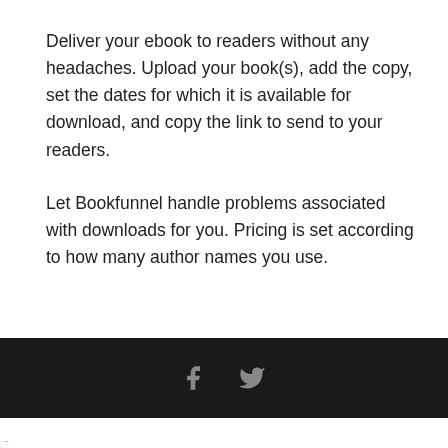Deliver your ebook to readers without any headaches. Upload your book(s), add the copy, set the dates for which it is available for download, and copy the link to send to your readers.
Let Bookfunnel handle problems associated with downloads for you. Pricing is set according to how many author names you use.
Facebook and Twitter icons